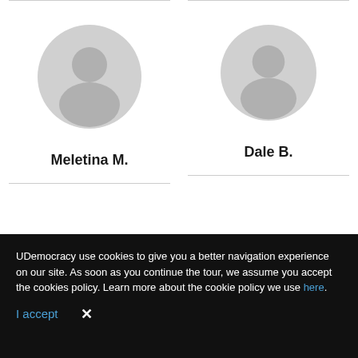[Figure (illustration): Generic grey user avatar placeholder (circle with person silhouette) for Meletina M.]
Meletina M.
[Figure (illustration): Generic grey user avatar placeholder (circle with person silhouette) for Dale B.]
Dale B.
[Figure (illustration): Red question mark icon (partially visible) at bottom left]
[Figure (illustration): Grey user avatar placeholder (partially visible) at bottom right]
UDemocracy use cookies to give you a better navigation experience on our site. As soon as you continue the tour, we assume you accept the cookies policy. Learn more about the cookie policy we use here.
I accept
×